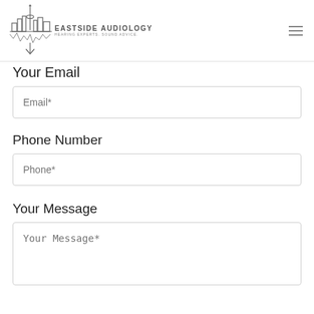EASTSIDE AUDIOLOGY HEARING EXPERTS. SOUND ADVICE.
Your Email
Email*
Phone Number
Phone*
Your Message
Your Message*